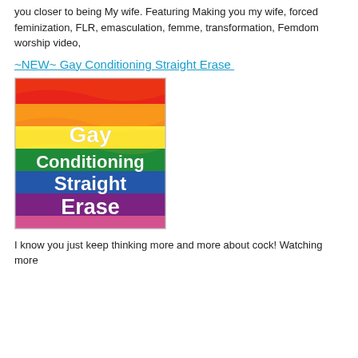you closer to being My wife. Featuring Making you my wife, forced feminization, FLR, emasculation, femme, transformation, Femdom worship video,
~NEW~ Gay Conditioning Straight Erase
[Figure (photo): Rainbow pride flag background with white bold text reading 'Gay Conditioning Straight Erase']
I know you just keep thinking more and more about cock! Watching more